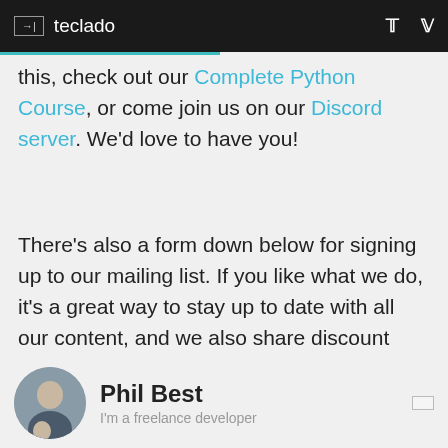teclado
this, check out our Complete Python Course, or come join us on our Discord server. We'd love to have you!
There's also a form down below for signing up to our mailing list. If you like what we do, it's a great way to stay up to date with all our content, and we also share discount codes for our courses with our subscribers, ensuring they always get the best deals on our courses.
Phil Best
I'm a freelance developer